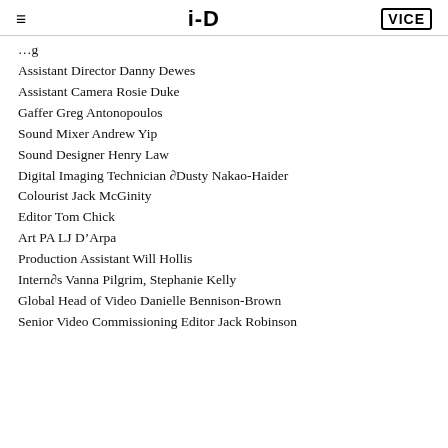i-D | VICE
Assistant Director Danny Dewes
Assistant Camera Rosie Duke
Gaffer Greg Antonopoulos
Sound Mixer Andrew Yip
Sound Designer Henry Law
Digital Imaging Technician ∂Dusty Nakao-Haider
Colourist Jack McGinity
Editor Tom Chick
Art PA LJ D'Arpa
Production Assistant Will Hollis
Intern∂s Vanna Pilgrim, Stephanie Kelly
Global Head of Video Danielle Bennison-Brown
Senior Video Commissioning Editor Jack Robinson